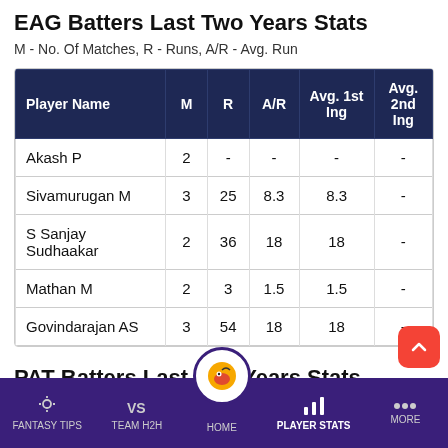EAG Batters Last Two Years Stats
M - No. Of Matches, R - Runs, A/R - Avg. Run
| Player Name | M | R | A/R | Avg. 1st Ing | Avg. 2nd Ing |
| --- | --- | --- | --- | --- | --- |
| Akash P | 2 | - | - | - | - |
| Sivamurugan M | 3 | 25 | 8.3 | 8.3 | - |
| S Sanjay Sudhaakar | 2 | 36 | 18 | 18 | - |
| Mathan M | 2 | 3 | 1.5 | 1.5 | - |
| Govindarajan AS | 3 | 54 | 18 | 18 | - |
PAT Batters Last Two Years Stats
M - No. Of Matches, R - Runs, A/R - Avg. Run
FANTASY TIPS  TEAM H2H  HOME  PLAYER STATS  MORE